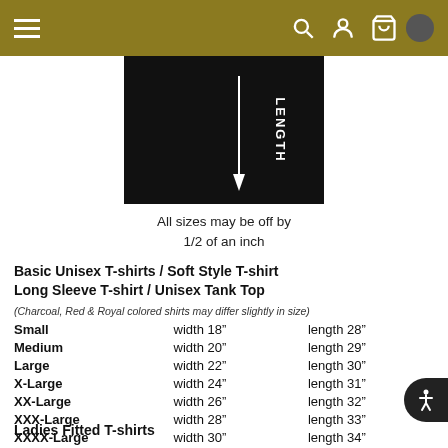Navigation bar with menu, search, account, and cart icons
[Figure (illustration): Black diagram showing LENGTH measurement arrow pointing downward on a garment]
All sizes may be off by 1/2 of an inch
Basic Unisex T-shirts / Soft Style T-shirt Long Sleeve T-shirt / Unisex Tank Top
(Charcoal, Red & Royal colored shirts may differ slightly in size)
| Size | Width | Length |
| --- | --- | --- |
| Small | width 18" | length 28" |
| Medium | width 20" | length 29" |
| Large | width 22" | length 30" |
| X-Large | width 24" | length 31" |
| XX-Large | width 26" | length 32" |
| XXX-Large | width 28" | length 33" |
| XXXX-Large | width 30" | length 34" |
| XXXXX-Large | width 32" | length 35" |
Ladies Fitted T-shirts